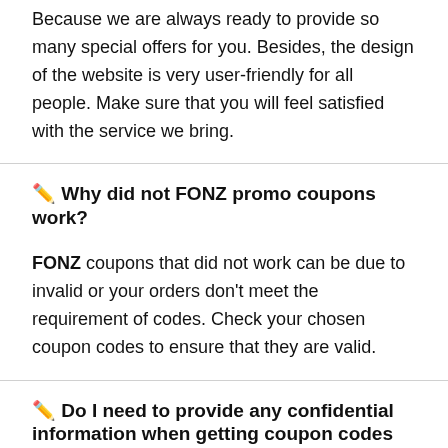Because we are always ready to provide so many special offers for you. Besides, the design of the website is very user-friendly for all people. Make sure that you will feel satisfied with the service we bring.
✏️ Why did not FONZ promo coupons work?
FONZ coupons that did not work can be due to invalid or your orders don't meet the requirement of codes. Check your chosen coupon codes to ensure that they are valid.
✏️ Do I need to provide any confidential information when getting coupon codes on FONZ?
No, we do not force any confidential information of